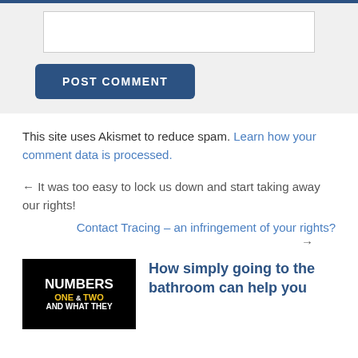POST COMMENT
This site uses Akismet to reduce spam. Learn how your comment data is processed.
← It was too easy to lock us down and start taking away our rights!
Contact Tracing – an infringement of your rights? →
[Figure (photo): Book cover or graphic with text NUMBERS ONE & TWO AND WHAT THEY on dark background with yellow accent text]
How simply going to the bathroom can help you